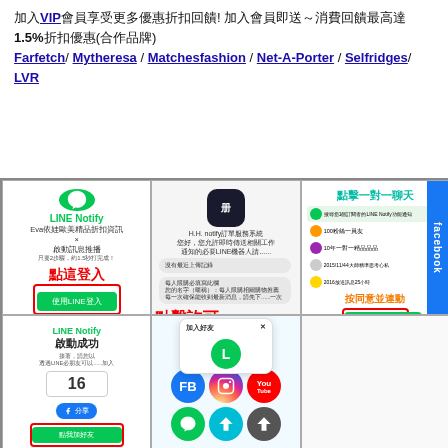加入VIP會員享受更多優惠折扣回饋! 加入會員即送~消費回饋最高達1.5%折扣優惠(合作品牌)Farfetch/ Mytheresa / Matchesfashion / Net-A-Porter / Selfridges/ LVR
[Figure (screenshot): Grid of 6 screenshots showing LINE Notify signup steps, app permission dialogs, Facebook chat, success screen, social media icons including FB, Instagram, YouTube, LINE]